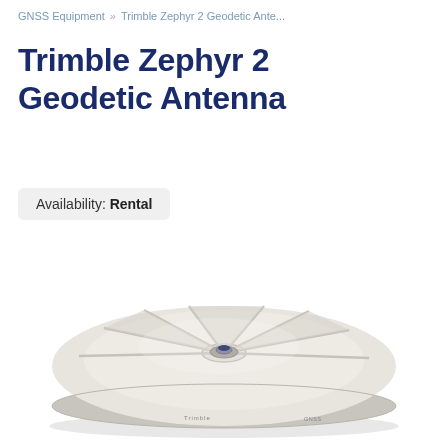GNSS Equipment » Trimble Zephyr 2 Geodetic Ante...
Trimble Zephyr 2 Geodetic Antenna
Availability: Rental
[Figure (photo): Trimble Zephyr 2 Geodetic Antenna — a flat circular disc-shaped GNSS antenna in light beige/white color with radial ridge pattern on top and a small central connector hub, viewed from a slight angle above.]